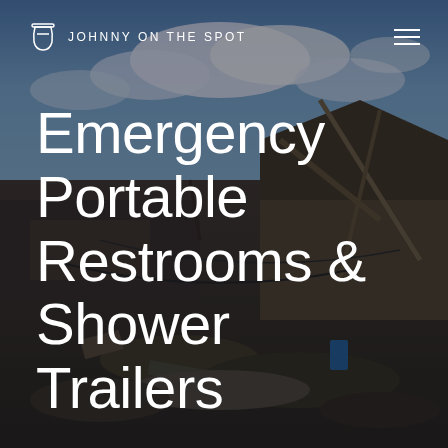[Figure (photo): Aerial/ground-level photo of a disaster scene showing a destroyed building with collapsed roof and structural damage, debris scattered around, under a partly cloudy blue sky.]
JOHNNY ON THE SPOT
Emergency Portable Restrooms & Shower Trailers